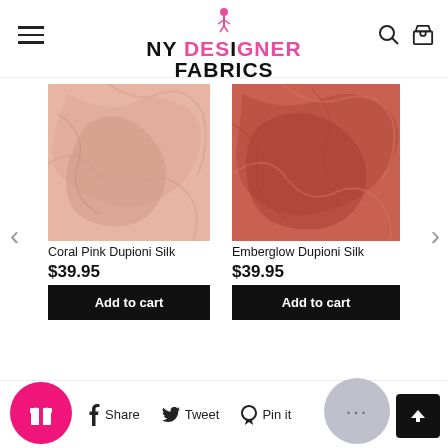NY DESIGNER FABRICS
[Figure (photo): Coral Pink Dupioni Silk fabric swatch]
Coral Pink Dupioni Silk
$39.95
Add to cart
[Figure (photo): Emberglow Dupioni Silk fabric swatch]
Emberglow Dupioni Silk
$39.95
Add to cart
Share  Tweet  Pin it